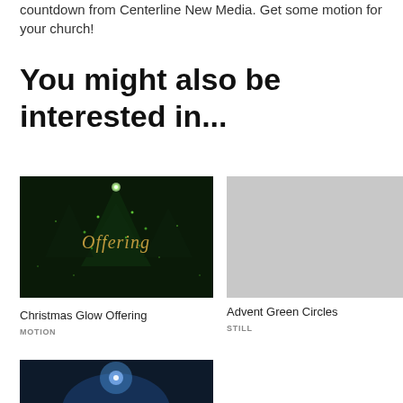countdown from Centerline New Media. Get some motion for your church!
You might also be interested in...
[Figure (photo): Christmas tree with glowing green lights and cursive gold text reading 'Offering' on dark background]
Christmas Glow Offering
MOTION
[Figure (photo): Light gray placeholder image for Advent Green Circles]
Advent Green Circles
STILL
[Figure (photo): Partial view of another card image at bottom of page]